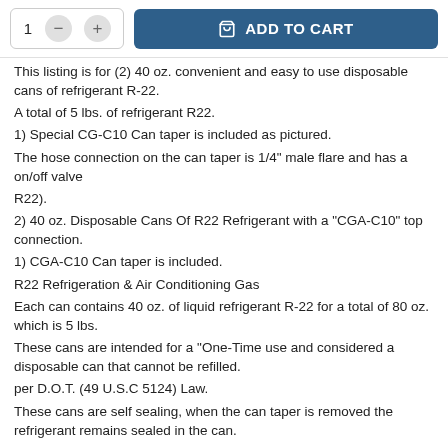[Figure (screenshot): Add to cart UI with quantity selector (showing 1, minus and plus buttons) and a blue ADD TO CART button with shopping bag icon]
This listing is for (2) 40 oz. convenient and easy to use disposable cans of refrigerant R-22.
A total of 5 lbs. of refrigerant R22.
1) Special CG-C10 Can taper is included as pictured.
The hose connection on the can taper is 1/4" male flare and has a on/off valve
R22).
2) 40 oz. Disposable Cans Of R22 Refrigerant with a "CGA-C10" top connection.
1) CGA-C10 Can taper is included.
R22 Refrigeration & Air Conditioning Gas
Each can contains 40 oz. of liquid refrigerant R-22 for a total of 80 oz. which is 5 lbs.
These cans are intended for a "One-Time use and considered a disposable can that cannot be refilled.
per D.O.T. (49 U.S.C 5124) Law.
These cans are self sealing, when the can taper is removed the refrigerant remains sealed in the can.